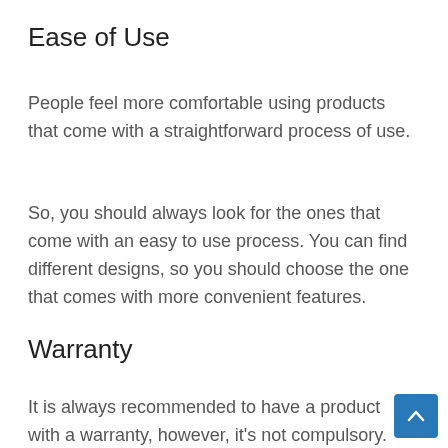Ease of Use
People feel more comfortable using products that come with a straightforward process of use.
So, you should always look for the ones that come with an easy to use process. You can find different designs, so you should choose the one that comes with more convenient features.
Warranty
It is always recommended to have a product with a warranty, however, it's not compulsory. However, if the brand provides warranties for a certain timeframe, then certainly it's a favorable deal.